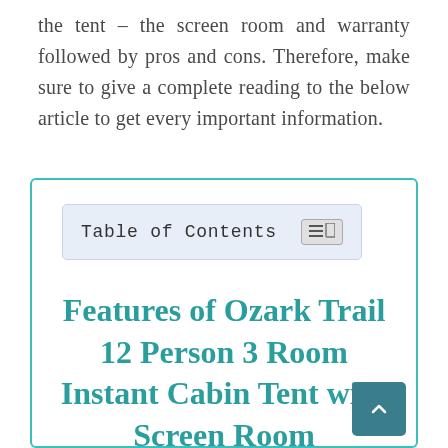the tent – the screen room and warranty followed by pros and cons. Therefore, make sure to give a complete reading to the below article to get every important information.
Table of Contents
Features of Ozark Trail 12 Person 3 Room Instant Cabin Tent with Screen Room